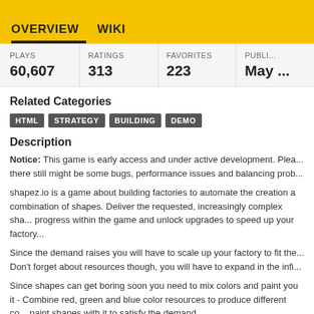OVERVIEW   WIKI
| PLAYS | RATINGS | FAVORITES | PUBLI... |
| --- | --- | --- | --- |
| 60,607 | 313 | 223 | May ... |
Related Categories
HTML
STRATEGY
BUILDING
DEMO
Description
Notice: This game is early access and under active development. Please note there still might be some bugs, performance issues and balancing prob...
shapez.io is a game about building factories to automate the creation a combination of shapes. Deliver the requested, increasingly complex sha... progress within the game and unlock upgrades to speed up your factory...
Since the demand raises you will have to scale up your factory to fit the... Don't forget about resources though, you will have to expand in the infi...
Since shapes can get boring soon you need to mix colors and paint you it - Combine red, green and blue color resources to produce different co... paint shapes with it to satisfy the demand.